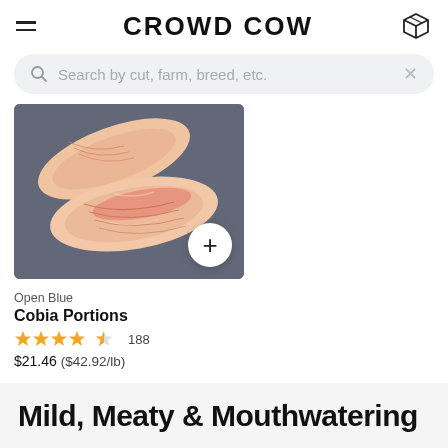CROWD COW
Search by cut, farm, breed, etc.
[Figure (photo): Raw cobia fish portions on a dark slate background, with a white circular add (+) button overlay in the bottom right of the image.]
Open Blue
Cobia Portions
4.5 stars, 188 reviews
$21.46  ($42.92/lb)
Mild, Meaty & Mouthwatering